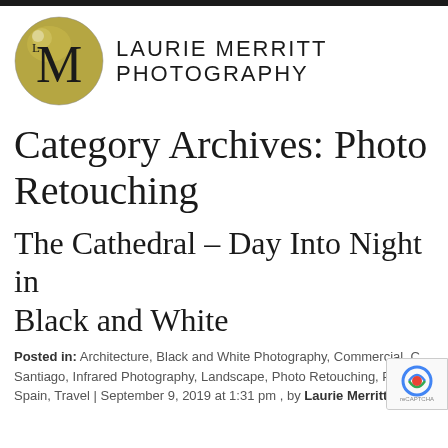[Figure (logo): Laurie Merritt Photography logo — gold circle with L and M letters, beside text 'LAURIE MERRITT PHOTOGRAPHY']
Category Archives: Photo Retouching
The Cathedral – Day Into Night in Black and White
Posted in: Architecture, Black and White Photography, Commercial, C... Santiago, Infrared Photography, Landscape, Photo Retouching, Photo... Spain, Travel | September 9, 2019 at 1:31 pm , by Laurie Merritt